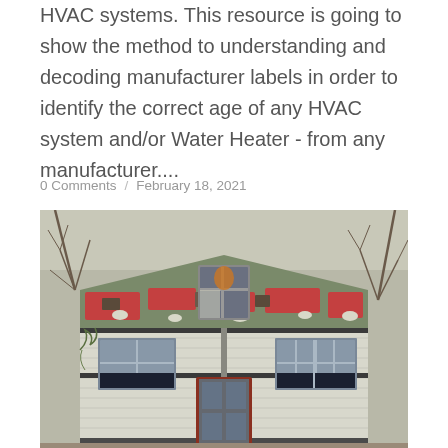HVAC systems. This resource is going to show the method to understanding and decoding manufacturer labels in order to identify the correct age of any HVAC system and/or Water Heater - from any manufacturer....
0 Comments / February 18, 2021
[Figure (photo): Photograph of an old, severely deteriorated two-story house with peeling red paint on the roof, broken and missing siding, damaged windows, a red front door, and bare trees in the background.]